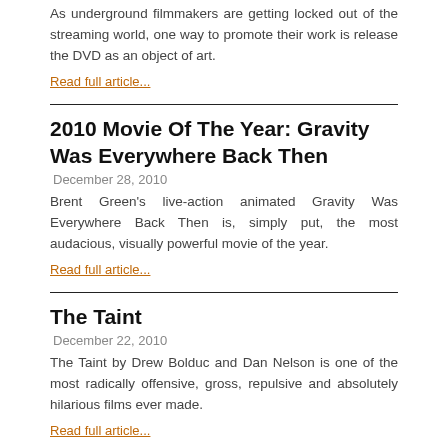As underground filmmakers are getting locked out of the streaming world, one way to promote their work is release the DVD as an object of art.
Read full article...
2010 Movie Of The Year: Gravity Was Everywhere Back Then
December 28, 2010
Brent Green's live-action animated Gravity Was Everywhere Back Then is, simply put, the most audacious, visually powerful movie of the year.
Read full article...
The Taint
December 22, 2010
The Taint by Drew Bolduc and Dan Nelson is one of the most radically offensive, gross, repulsive and absolutely hilarious films ever made.
Read full article...